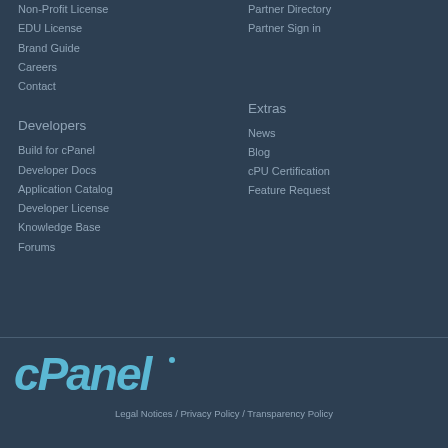Non-Profit License
EDU License
Brand Guide
Careers
Contact
Partner Directory
Partner Sign in
Developers
Extras
Build for cPanel
Developer Docs
Application Catalog
Developer License
Knowledge Base
Forums
News
Blog
cPU Certification
Feature Request
[Figure (logo): cPanel logo in light blue/teal color on dark navy background]
Legal Notices / Privacy Policy / Transparency Policy